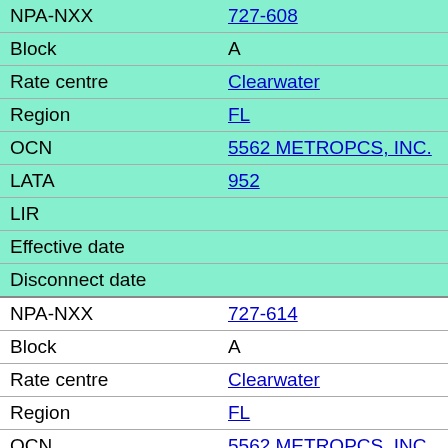| Field | Value |
| --- | --- |
| NPA-NXX | 727-608 |
| Block | A |
| Rate centre | Clearwater |
| Region | FL |
| OCN | 5562 METROPCS, INC. |
| LATA | 952 |
| LIR |  |
| Effective date |  |
| Disconnect date |  |
| NPA-NXX | 727-614 |
| Block | A |
| Rate centre | Clearwater |
| Region | FL |
| OCN | 5562 METROPCS, INC. |
| LATA | 952 |
| LIR |  |
| Effective date |  |
| Disconnect date |  |
| NPA-NXX | 727-623 |
| Block | A |
| Rate centre | St Petersburg |